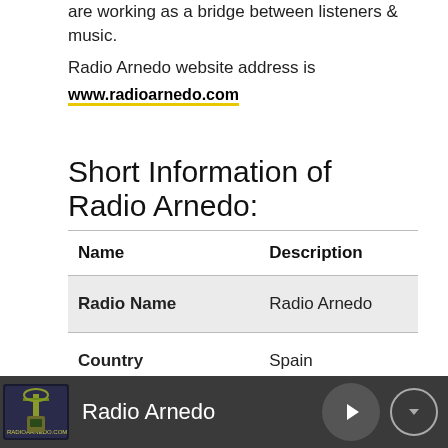are working as a bridge between listeners & music.
Radio Arnedo website address is
www.radioarnedo.com
Short Information of Radio Arnedo:
| Name | Description |
| --- | --- |
| Radio Name | Radio Arnedo |
| Country | Spain |
| Genres (Type of radio) |  |
Radio Arnedo